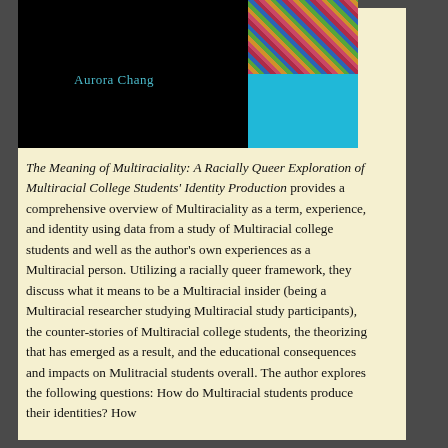[Figure (illustration): Book cover image for 'The Meaning of Multiraciality' by Aurora Chang. Black background on the left with author name 'Aurora Chang' in teal text. Right side features a colorful portrait strip on the left and a cyan/turquoise panel on the right.]
The Meaning of Multiraciality: A Racially Queer Exploration of Multiracial College Students' Identity Production provides a comprehensive overview of Multiraciality as a term, experience, and identity using data from a study of Multiracial college students and well as the author's own experiences as a Multiracial person. Utilizing a racially queer framework, they discuss what it means to be a Multiracial insider (being a Multiracial researcher studying Multiracial study participants), the counter-stories of Multiracial college students, the theorizing that has emerged as a result, and the educational consequences and impacts on Mulitracial students overall. The author explores the following questions: How do Multiracial students produce their identities? How